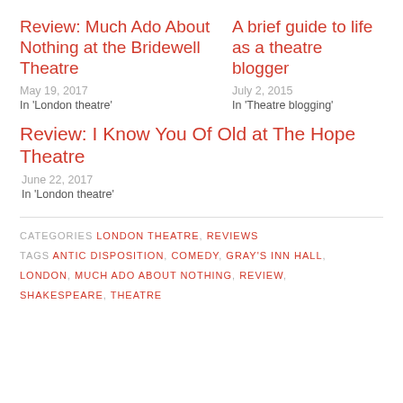Review: Much Ado About Nothing at the Bridewell Theatre
May 19, 2017
In 'London theatre'
A brief guide to life as a theatre blogger
July 2, 2015
In 'Theatre blogging'
Review: I Know You Of Old at The Hope Theatre
June 22, 2017
In 'London theatre'
CATEGORIES LONDON THEATRE, REVIEWS
TAGS ANTIC DISPOSITION, COMEDY, GRAY'S INN HALL, LONDON, MUCH ADO ABOUT NOTHING, REVIEW, SHAKESPEARE, THEATRE